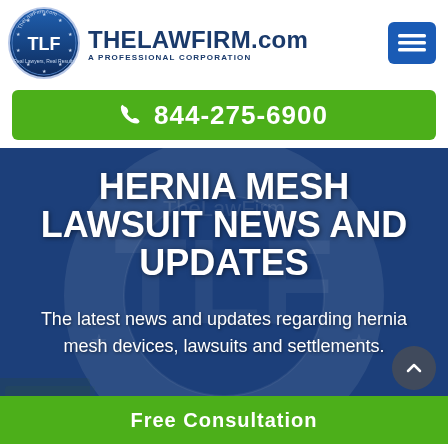[Figure (logo): TheLawFirm.com circular badge logo with TLF initials]
THELAWFIRM.com A PROFESSIONAL CORPORATION
[Figure (other): Blue hamburger menu button with three white lines]
📞 844-275-6900
HERNIA MESH LAWSUIT NEWS AND UPDATES
The latest news and updates regarding hernia mesh devices, lawsuits and settlements.
Free Consultation